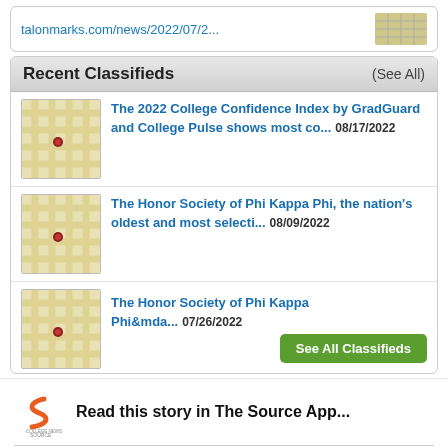talonmarks.com/news/2022/07/2...
Recent Classifieds  (See All)
The 2022 College Confidence Index by GradGuard and College Pulse shows most co...  08/17/2022
The Honor Society of Phi Kappa Phi, the nation's oldest and most selecti...  08/09/2022
The Honor Society of Phi Kappa Phi&mda...  07/26/2022
See All Classifieds
Read this story in The Source App...
Open App
Continue in browser